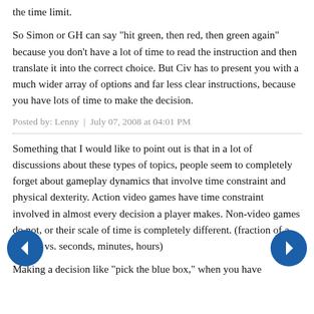the time limit.
So Simon or GH can say "hit green, then red, then green again" because you don't have a lot of time to read the instruction and then translate it into the correct choice. But Civ has to present you with a much wider array of options and far less clear instructions, because you have lots of time to make the decision.
Posted by: Lenny  |  July 07, 2008 at 04:01 PM
Something that I would like to point out is that in a lot of discussions about these types of topics, people seem to completely forget about gameplay dynamics that involve time constraint and physical dexterity. Action video games have time constraint involved in almost every decision a player makes. Non-video games do not, or their scale of time is completely different. (fraction of a second vs. seconds, minutes, hours)
Making a decision like "pick the blue box," when you have